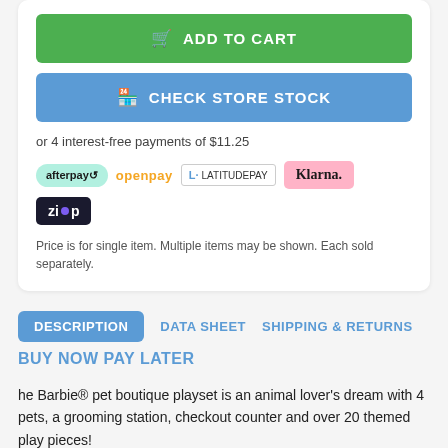[Figure (screenshot): Add to Cart green button with cart icon]
[Figure (screenshot): Check Store Stock blue button with store icon]
or 4 interest-free payments of $11.25
[Figure (logo): Payment logos: afterpay, openpay, latitudepay, Klarna, zip]
Price is for single item. Multiple items may be shown. Each sold separately.
DESCRIPTION   DATA SHEET   SHIPPING & RETURNS
BUY NOW PAY LATER
he Barbie® pet boutique playset is an animal lover's dream with 4 pets, a grooming station, checkout counter and over 20 themed play pieces!